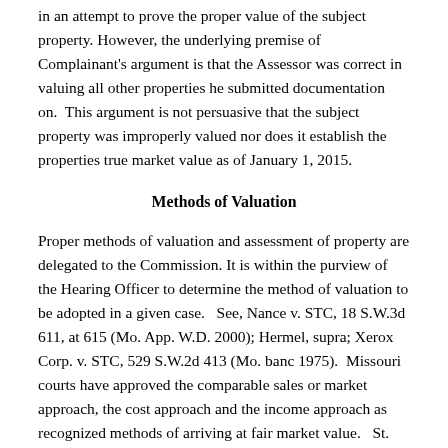in an attempt to prove the proper value of the subject property. However, the underlying premise of Complainant's argument is that the Assessor was correct in valuing all other properties he submitted documentation on.  This argument is not persuasive that the subject property was improperly valued nor does it establish the properties true market value as of January 1, 2015.
Methods of Valuation
Proper methods of valuation and assessment of property are delegated to the Commission. It is within the purview of the Hearing Officer to determine the method of valuation to be adopted in a given case.   See, Nance v. STC, 18 S.W.3d 611, at 615 (Mo. App. W.D. 2000); Hermel, supra; Xerox Corp. v. STC, 529 S.W.2d 413 (Mo. banc 1975).  Missouri courts have approved the comparable sales or market approach, the cost approach and the income approach as recognized methods of arriving at fair market value.   St. Joe Minerals Corp. v. STC, 854 S.W.2d 526, 529 (App. E.D. 1993); Aspenhof Corp. v. STC, 789 S.W.2d 867,